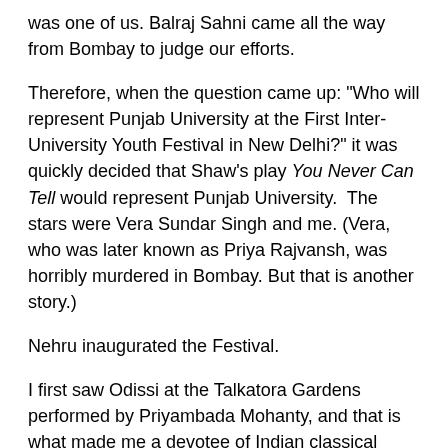was one of us. Balraj Sahni came all the way from Bombay to judge our efforts.
Therefore, when the question came up: "Who will represent Punjab University at the First Inter-University Youth Festival in New Delhi?" it was quickly decided that Shaw's play You Never Can Tell would represent Punjab University.  The stars were Vera Sundar Singh and me. (Vera, who was later known as Priya Rajvansh, was horribly murdered in Bombay. But that is another story.)
Nehru inaugurated the Festival.
I first saw Odissi at the Talkatora Gardens performed by Priyambada Mohanty, and that is what made me a devotee of Indian classical dance. She was a brilliant student of zoology but had learnt dance from leading gurus such as Singhari Shyam Sundar Kar, Kelucharan Mahapatra, Deba Prasad Das and Pankaj Charan Das. Though she became a Professor of Zoology at Utkal University, she continued to dance, and researched the history and technique of Odissi. Her daughter Ahalya Hejmadi also became a well-known Odissi performer.
At that time, few people had even heard of Odissi. Fortunately, the critic Dr Charles Fabri, a Hungarian who